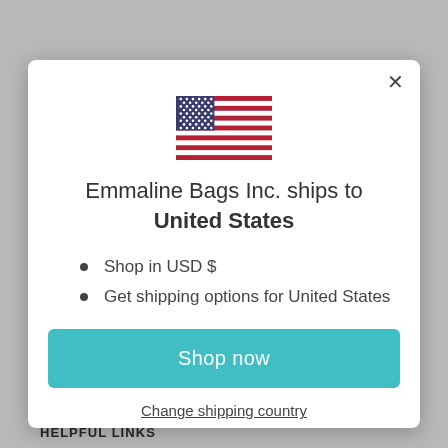[Figure (illustration): US flag emoji/icon centered in modal]
Emmaline Bags Inc. ships to United States
Shop in USD $
Get shipping options for United States
Shop now
Change shipping country
HELPFUL LINKS